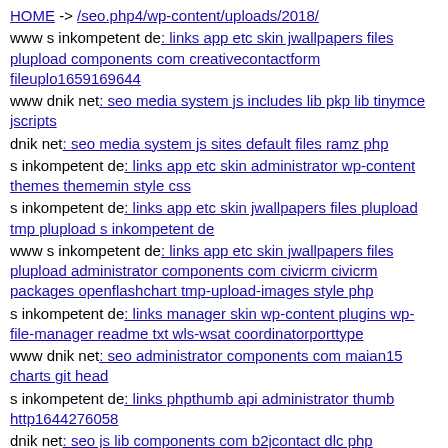HOME -> /seo.php4/wp-content/uploads/2018/
www s inkompetent de: links app etc skin jwallpapers files plupload components com creativecontactform fileuplo1659169644
www dnik net: seo media system js includes lib pkp lib tinymce jscripts
dnik net: seo media system js sites default files ramz php
s inkompetent de: links app etc skin administrator wp-content themes thememin style css
s inkompetent de: links app etc skin jwallpapers files plupload tmp plupload s inkompetent de
www s inkompetent de: links app etc skin jwallpapers files plupload administrator components com civicrm civicrm packages openflashchart tmp-upload-images style php
s inkompetent de: links manager skin wp-content plugins wp-file-manager readme txt wls-wsat coordinatorporttype
www dnik net: seo administrator components com maian15 charts git head
s inkompetent de: links phpthumb api administrator thumb http1644276058
dnik net: seo js lib components com b2jcontact dlc php
www s inkompetent de: links manager skin wp-content themes elemin style css
www dnik net: seo language git head
dnik net: seo media system js magmi web skin media system js